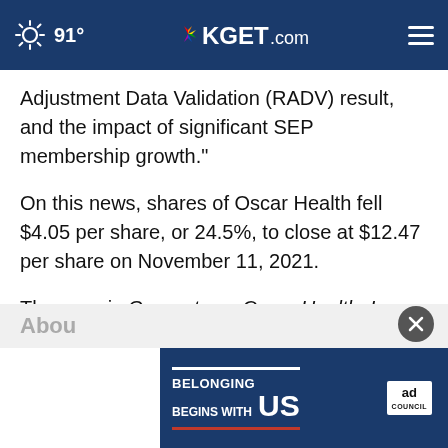91° KGET.com
Adjustment Data Validation (RADV) result, and the impact of significant SEP membership growth."
On this news, shares of Oscar Health fell $4.05 per share, or 24.5%, to close at $12.47 per share on November 11, 2021.
The case is Carpenter v. Oscar Health, Inc., et al., Case No. 1:22-cv-03885.
Abou
[Figure (infographic): Ad banner: BELONGING BEGINS WITH US — Ad Council]